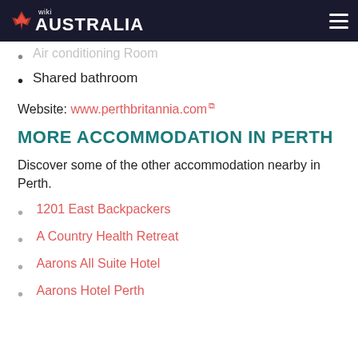wiki AUSTRALIA
Air conditioning Room
Shared bathroom
Website: www.perthbritannia.com
MORE ACCOMMODATION IN PERTH
Discover some of the other accommodation nearby in Perth.
1201 East Backpackers
A Country Health Retreat
Aarons All Suite Hotel
Aarons Hotel Perth